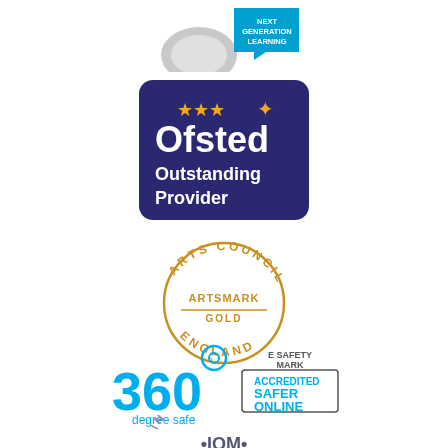[Figure (logo): Partially visible logo at top with silver/grey shape and blue 'Next Generation Learning' badge]
[Figure (logo): Ofsted Outstanding Provider logo - dark navy blue rounded rectangle with white text and gold stars]
[Figure (logo): Arts Council England Artsmark Gold circular logo in gold/orange text]
[Figure (logo): 360 degree safe logo with blue text and accredited safer online e-safety mark badge]
[Figure (logo): Inclusion IOM logo partially visible at bottom]